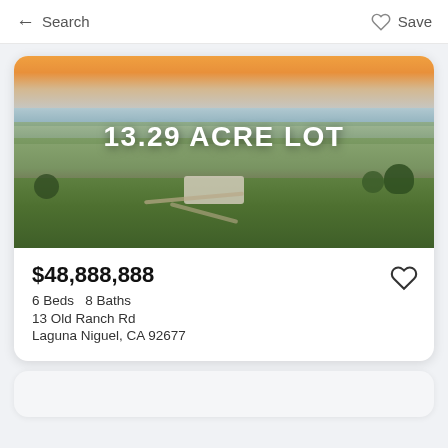← Search   ♡ Save
[Figure (photo): Aerial drone photo of a 13.29 acre lot property with a large house on a green hillside, suburban neighborhood and ocean/bay in the background at sunset. Text overlay reads '13.29 ACRE LOT']
$48,888,888
6 Beds   8 Baths
13 Old Ranch Rd
Laguna Niguel, CA 92677